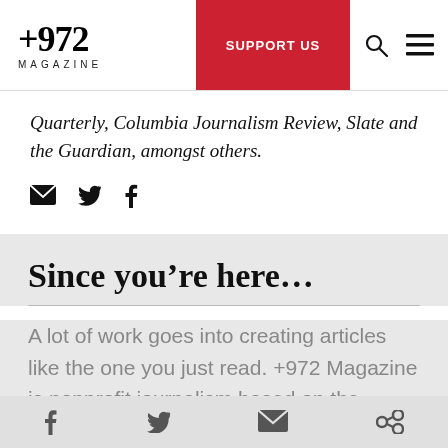+972 MAGAZINE | SUPPORT US
Quarterly, Columbia Journalism Review, Slate and the Guardian, amongst others.
[Figure (other): Social share icons: email, twitter, facebook]
Since you’re here…
A lot of work goes into creating articles like the one you just read. +972 Magazine is nonprofit journalism based on the ground in Israel-Palestine. In order to safeguard our independent
Social share icons: facebook, twitter, email, link